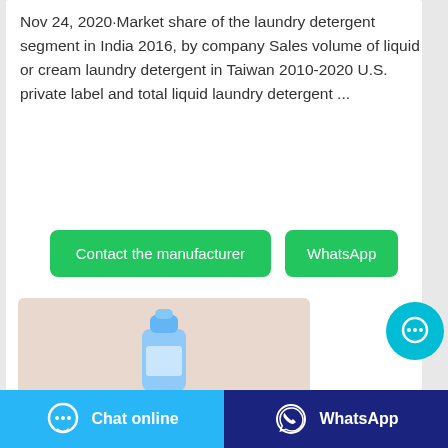Nov 24, 2020·Market share of the laundry detergent segment in India 2016, by company Sales volume of liquid or cream laundry detergent in Taiwan 2010-2020 U.S. private label and total liquid laundry detergent ...
Contact the manufacturer
WhatsApp
[Figure (photo): A light blue laundry detergent bottle on a pinkish-beige background]
[Figure (other): Circular cyan chat bubble button with ellipsis icon]
Chat online
WhatsApp